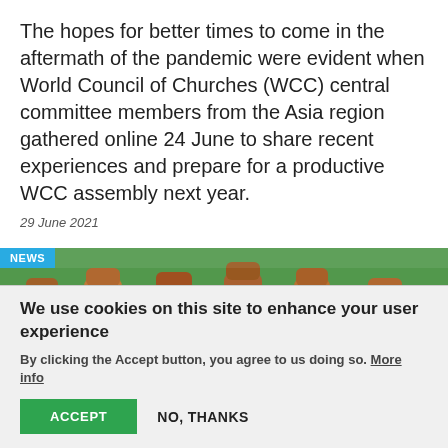The hopes for better times to come in the aftermath of the pandemic were evident when World Council of Churches (WCC) central committee members from the Asia region gathered online 24 June to share recent experiences and prepare for a productive WCC assembly next year.
29 June 2021
[Figure (photo): Photo of multiple raised fists against a blurred outdoor background with trees and crowd, with a 'NEWS' badge in the upper-left corner in light blue.]
We use cookies on this site to enhance your user experience
By clicking the Accept button, you agree to us doing so. More info
ACCEPT
NO, THANKS